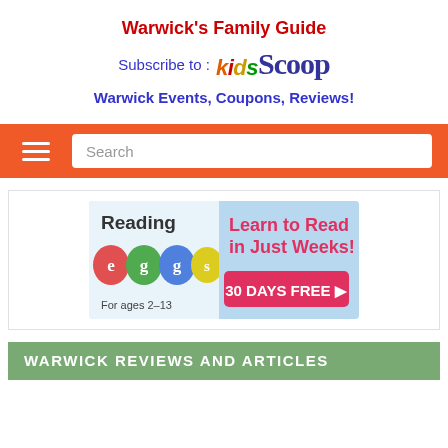Warwick's Family Guide
[Figure (logo): KidsScoop logo with colorful lettering - Subscribe to: KidsScoop]
Warwick Events, Coupons, Reviews!
[Figure (screenshot): Orange navigation bar with hamburger menu icon and search box]
[Figure (illustration): Reading Eggs advertisement - Learn to Read in Just Weeks! 30 DAYS FREE. For ages 2-13]
WARWICK REVIEWS AND ARTICLES